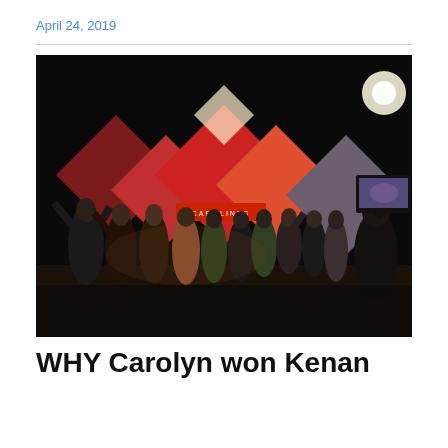April 24, 2019
[Figure (photo): Group photo of people on a comedy club stage with hands raised, colorful diamond-shaped backdrop with 'CAROLINES' sign visible in background, monitor on right side showing a TV screen]
WHY Carolyn won Kenan